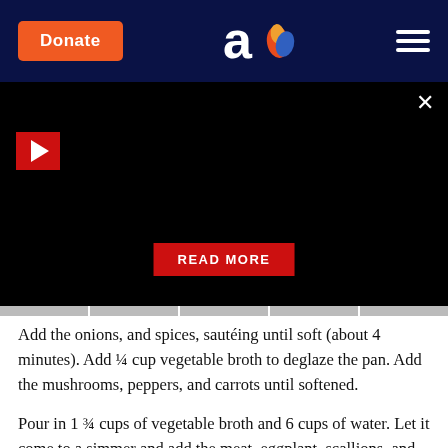Donate | [logo] | [menu]
[Figure (screenshot): Black video player area with red play button on left, close X button top right, and a red READ MORE button in the lower center]
Add the onions, and spices, sautéing until soft (about 4 minutes). Add ¼ cup vegetable broth to deglaze the pan. Add the mushrooms, peppers, and carrots until softened.
Pour in 1 ¾ cups of vegetable broth and 6 cups of water. Let it come to a simmer and add the meat, eggplant, scallions, and wontons to the soup. Bring to a boil. Serve garnished with Chinese noodles.